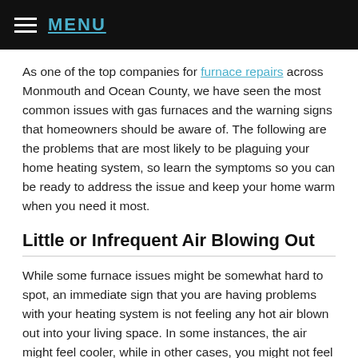MENU
As one of the top companies for furnace repairs across Monmouth and Ocean County, we have seen the most common issues with gas furnaces and the warning signs that homeowners should be aware of. The following are the problems that are most likely to be plaguing your home heating system, so learn the symptoms so you can be ready to address the issue and keep your home warm when you need it most.
Little or Infrequent Air Blowing Out
While some furnace issues might be somewhat hard to spot, an immediate sign that you are having problems with your heating system is not feeling any hot air blown out into your living space. In some instances, the air might feel cooler, while in other cases, you might not feel any air coming through at all. While it might seem like a cause for panic, this is actually a